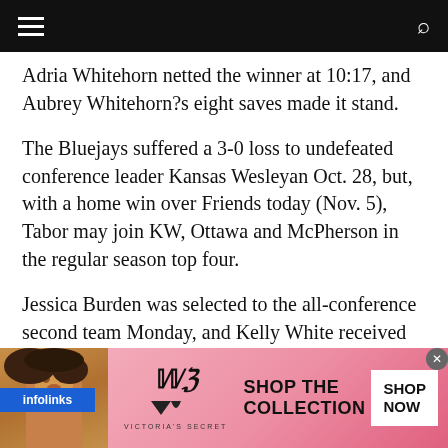Navigation bar with hamburger menu and search icon
Adria Whitehorn netted the winner at 10:17, and Aubrey Whitehorn?s eight saves made it stand.
The Bluejays suffered a 3-0 loss to undefeated conference leader Kansas Wesleyan Oct. 28, but, with a home win over Friends today (Nov. 5), Tabor may join KW, Ottawa and McPherson in the regular season top four.
Jessica Burden was selected to the all-conference second team Monday, and Kelly White received honorable mention.
[Figure (photo): Victoria's Secret advertisement banner with model, VS logo, 'SHOP THE COLLECTION' text, and 'SHOP NOW' button]